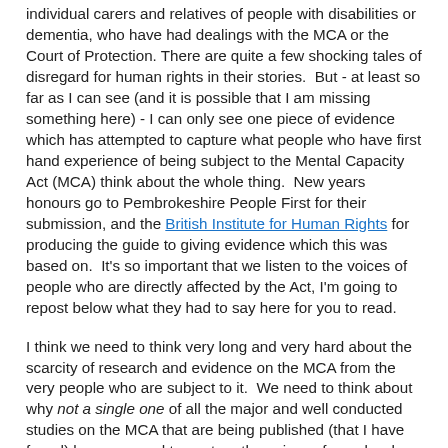individual carers and relatives of people with disabilities or dementia, who have had dealings with the MCA or the Court of Protection. There are quite a few shocking tales of disregard for human rights in their stories.  But - at least so far as I can see (and it is possible that I am missing something here) - I can only see one piece of evidence which has attempted to capture what people who have first hand experience of being subject to the Mental Capacity Act (MCA) think about the whole thing.  New years honours go to Pembrokeshire People First for their submission, and the British Institute for Human Rights for producing the guide to giving evidence which this was based on.  It's so important that we listen to the voices of people who are directly affected by the Act, I'm going to repost below what they had to say here for you to read.
I think we need to think very long and very hard about the scarcity of research and evidence on the MCA from the very people who are subject to it.  We need to think about why not a single one of all the major and well conducted studies on the MCA that are being published (that I have found) has managed to capture the voices of people who are said to